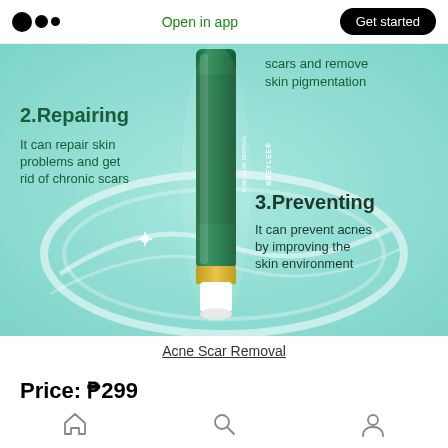Open in app | Get started
[Figure (photo): BREYLEE Acne Scar Removal product (green tube) shown in a teal/aqua water splash background. Text on image: '2.Repairing – It can repair skin problems and get rid of chronic scars', '3.Preventing – It can prevent acnes by improving the skin environment', and partially visible '...scars and remove skin pigmentation']
Acne Scar Removal
Price: ₱299